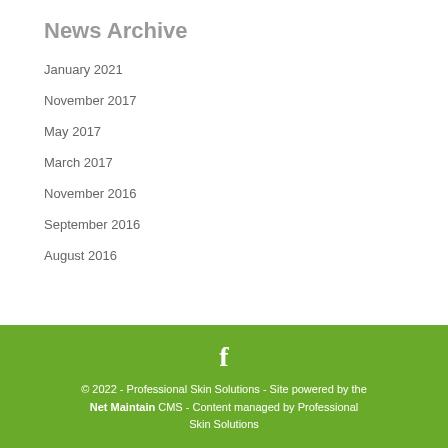News Archive
January 2021
November 2017
May 2017
March 2017
November 2016
September 2016
August 2016
© 2022 - Professional Skin Solutions - Site powered by the Net Maintain CMS - Content managed by Professional Skin Solutions